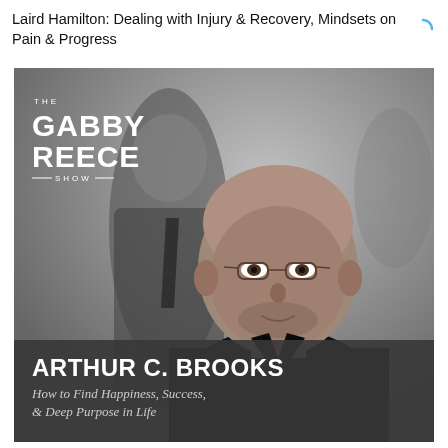Laird Hamilton: Dealing with Injury & Recovery, Mindsets on Pain & Progress
[Figure (photo): The Gabby Reece Show podcast cover art featuring Arthur C. Brooks. Black and white background with a blurred figure in a suit. In the foreground is a bald man wearing glasses and a black shirt, smiling. Top left shows the podcast logo 'THE GABBY REECE SHOW'. Bottom overlay shows guest name 'ARTHUR C. BROOKS' and subtitle 'How to Find Happiness, Success, & Deep Purpose in Life'.]